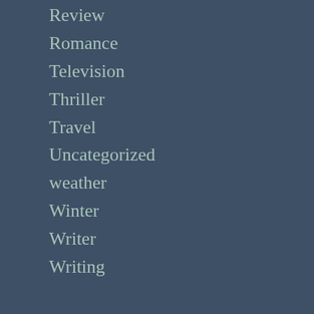Review
Romance
Television
Thriller
Travel
Uncategorized
weather
Winter
Writer
Writing
Meta
Register
Log in
Entries feed
Comments feed
WordPress.com